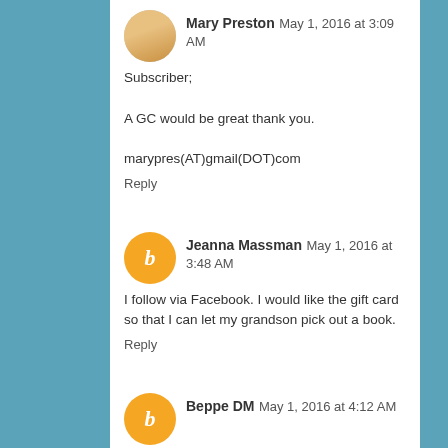Mary Preston   May 1, 2016 at 3:09 AM
Subscriber;

A GC would be great thank you.

marypres(AT)gmail(DOT)com

Reply
Jeanna Massman   May 1, 2016 at 3:48 AM
I follow via Facebook. I would like the gift card so that I can let my grandson pick out a book.

Reply
Beppe DM   May 1, 2016 at 4:12 AM
Thanks for the giveaway ;)
I follow on Bloglovin as Beppe DM
my email: beppe_dm(at)teletu(dot)it

Reply